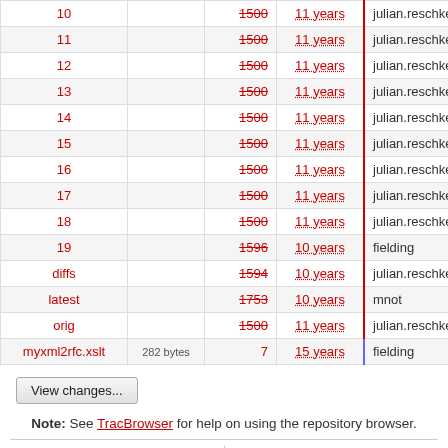| Name |  | Rev | Age | Author | Last Change |
| --- | --- | --- | --- | --- | --- |
| 10 |  | 1500 | 11 years | julian.reschke | fix mime ty |
| 11 |  | 1500 | 11 years | julian.reschke | fix mime ty |
| 12 |  | 1500 | 11 years | julian.reschke | fix mime ty |
| 13 |  | 1500 | 11 years | julian.reschke | fix mime ty |
| 14 |  | 1500 | 11 years | julian.reschke | fix mime ty |
| 15 |  | 1500 | 11 years | julian.reschke | fix mime ty |
| 16 |  | 1500 | 11 years | julian.reschke | fix mime ty |
| 17 |  | 1500 | 11 years | julian.reschke | fix mime ty |
| 18 |  | 1500 | 11 years | julian.reschke | fix mime ty |
| 19 |  | 1596 | 10 years | fielding | remove ex |
| diffs |  | 1594 | 10 years | julian.reschke | regen -19 |
| latest |  | 1753 | 10 years | mnot | Make word |
| orig |  | 1500 | 11 years | julian.reschke | fix mime ty |
| myxml2rfc.xslt | 282 bytes | 7 | 15 years | fielding | Wrapper st |
View changes...
Note: See TracBrowser for help on using the repository browser.
Powered by Trac 1.0.10 By Edgewall Software. Visit the Trac open source project at http://trac.edgewall.org/